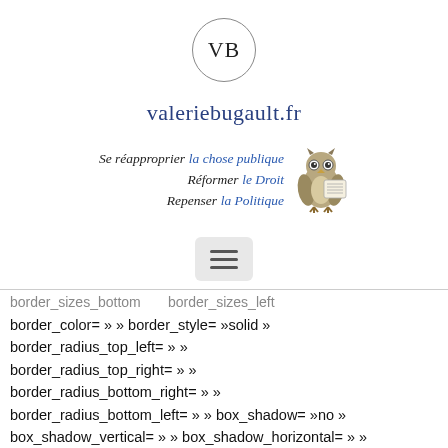[Figure (logo): Circular logo with letters VB inside a thin circle border]
valeriebugault.fr
[Figure (illustration): Tagline block with three lines: 'Se réapproprier la chose publique', 'Réformer le Droit', 'Repenser la Politique' with an owl illustration to the right]
[Figure (other): Hamburger menu icon (three horizontal lines) in a light grey rounded rectangle]
border_sizes_bottom      border_sizes_left
border_color= » » border_style= »solid »
border_radius_top_left= » »
border_radius_top_right= » »
border_radius_bottom_right= » »
border_radius_bottom_left= » » box_shadow= »no »
box_shadow_vertical= » » box_shadow_horizontal= » »
box_shadow_blur= »0" box_shadow_spread= »0"
box_shadow_color= ...